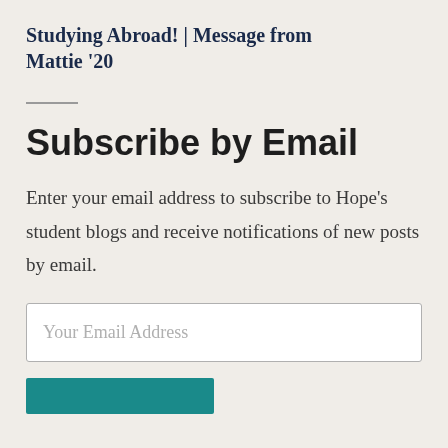Studying Abroad! | Message from Mattie '20
Subscribe by Email
Enter your email address to subscribe to Hope's student blogs and receive notifications of new posts by email.
Your Email Address